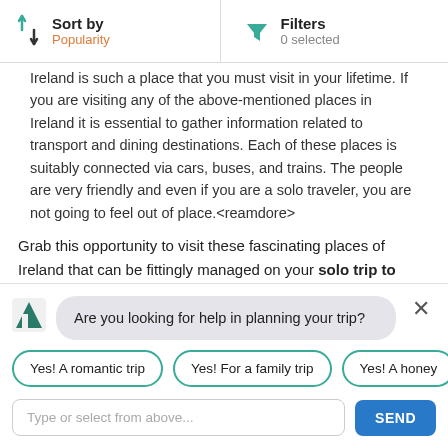Sort by Popularity | Filters 0 selected
Ireland is such a place that you must visit in your lifetime. If you are visiting any of the above-mentioned places in Ireland it is essential to gather information related to transport and dining destinations. Each of these places is suitably connected via cars, buses, and trains. The people are very friendly and even if you are a solo traveler, you are not going to feel out of place.<reamdore>
Grab this opportunity to visit these fascinating places of Ireland that can be fittingly managed on your solo trip to Ireland.
Read More
[Figure (screenshot): Blue banner strip]
Are you looking for help in planning your trip?
Yes! A romantic trip
Yes! For a family trip
Yes! A honey...
Type or select from above...